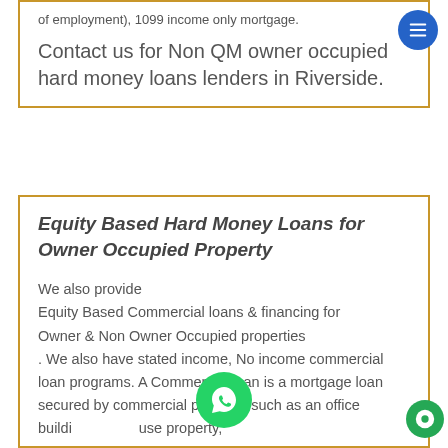of employment), 1099 income only mortgage.
Contact us for Non QM owner occupied hard money loans lenders in Riverside.
Equity Based Hard Money Loans for Owner Occupied Property
We also provide Equity Based Commercial loans & financing for Owner & Non Owner Occupied properties. We also have stated income, No income commercial loan programs. A Commercial loan is a mortgage loan secured by commercial property, such as an office building, mixed use property, commercial buildings, shopping center, industrial